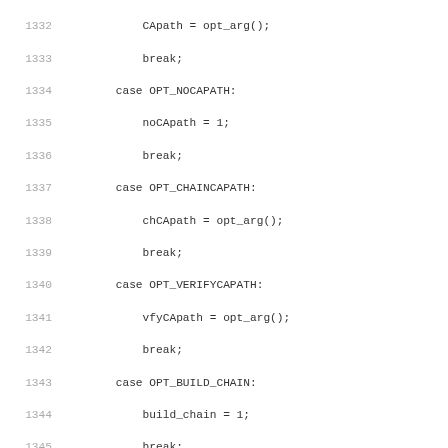[Figure (screenshot): Source code listing in monospace font showing C switch-case statements for SSL/TLS option parsing, lines 1332–1363, with line numbers in grey on the left and code in dark text on white background.]